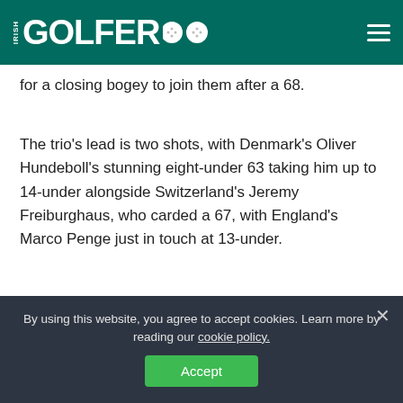IRISH GOLFER
for a closing bogey to join them after a 68.
The trio's lead is two shots, with Denmark's Oliver Hundeboll's stunning eight-under 63 taking him up to 14-under alongside Switzerland's Jeremy Freiburghaus, who carded a 67, with England's Marco Penge just in touch at 13-under.
SCORING
[Figure (other): Advertisement placeholder image (grey rectangle)]
By using this website, you agree to accept cookies. Learn more by reading our cookie policy.